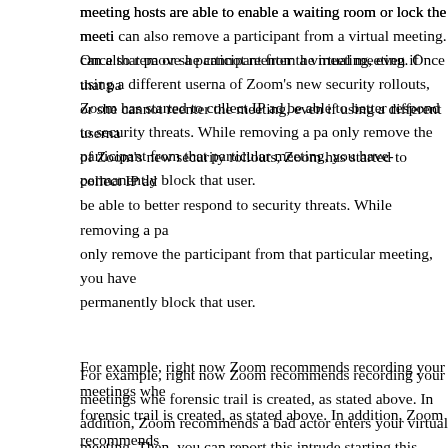meeting hosts are able to enable a waiting room or lock the meeting. Hosts can also remove a participant from a virtual meeting. Once that participant is removed, he or she cannot reenter the meeting, even if using a different username. As part of Zoom's new security rollouts, Zoom has started to collect IP addresses to be able to better respond to security threats. While removing a participant will only remove the participant from that particular meeting, you have the option to permanently block that user.
For example, right now Zoom recommends recording your meetings when a forensic trail is created, as stated above. In addition, Zoom recommends that if a bad actor enters your virtual meeting. Then, you can report this intruder. Also, starting this coming weekend, Zoom will be releasing a new security feature that will allow users to send a report to Zoom right from the security button should issues arise.
Other Noteworthy Developments
Zoom announced that as of April 1, 2020, it would freeze all future product development to focus on privacy and security updates for the following 90 days. Moreover, beginning April 18, 2020, each Zoom customer will be able to customize which data center regions their data is routed through for real-time meeting traffic. By default, however, there will be no connection to a China data center beginning April 18, 2020 for all users. Additionally, users with an ".edu" re— automatically given the highest level of security in their meetings, and thi—